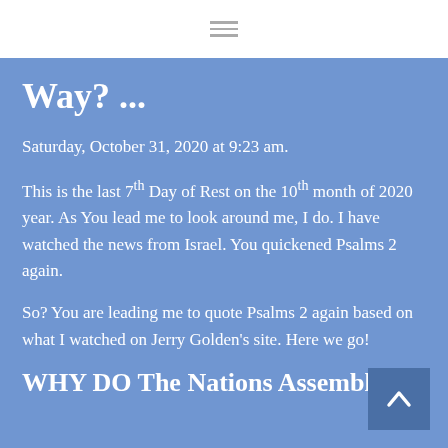≡ (hamburger menu icon)
Way? ...
Saturday, October 31, 2020 at 9:23 am.
This is the last 7th Day of Rest on the 10th month of 2020 year. As You lead me to look around me, I do. I have watched the news from Israel. You quickened Psalms 2 again.
So? You are leading me to quote Psalms 2 again based on what I watched on Jerry Golden's site. Here we go!
WHY DO The Nations Assemble